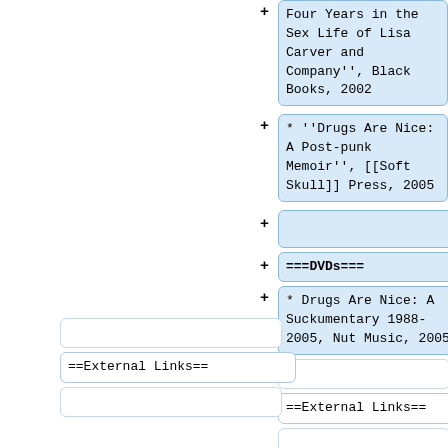Four Years in the Sex Life of Lisa Carver and Company'', Black Books, 2002
* ''Drugs Are Nice: A Post-punk Memoir'', [[Soft Skull]] Press, 2005
===DVDs===
* Drugs Are Nice: A Suckumentary 1988-2005, Nut Music, 2005
==External Links==
==External Links==
*